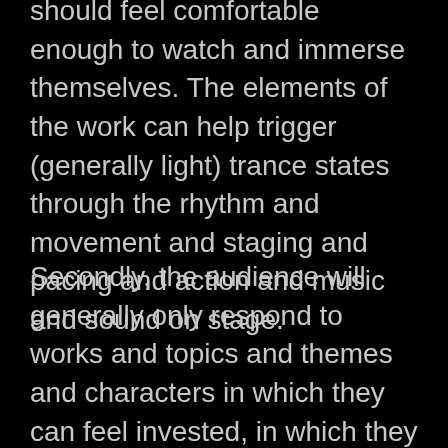should feel comfortable enough to watch and immerse themselves. The elements of the work can help trigger (generally light) trance states through the rhythm and movement and staging and pacing and action and music and sound on stage.
Secondly, the audience will generally only respond to works and topics and themes and characters in which they can feel invested, in which they can imagine themselves, and in which they can feel some kind of emotional sympathy or attachment. The work also cannot be so at odds with the audience's perspective or worldview—at